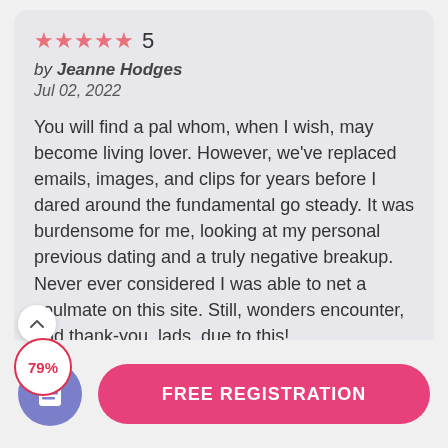★★★★★ 5
by Jeanne Hodges
Jul 02, 2022
You will find a pal whom, when I wish, may become living lover. However, we've replaced emails, images, and clips for years before I dared around the fundamental go steady. It was burdensome for me, looking at my personal previous dating and a truly negative breakup. Never ever considered I was able to net a soulmate on this site. Still, wonders encounter, and thank-you, lads, due to this!
[Figure (infographic): Scroll up chevron button (white circle) and 79% red-outlined circle badge]
[Figure (infographic): Purple document icon circle button and pink FREE REGISTRATION pill button]